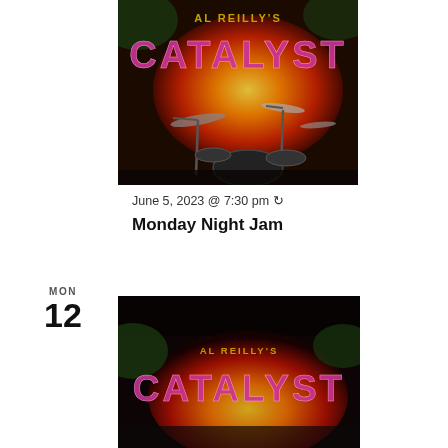[Figure (photo): Al Reilly's Catalyst bar/venue banner with drum set in foreground, fire imagery in background]
June 5, 2023 @ 7:30 pm ↻
Monday Night Jam
MON
12
[Figure (photo): Al Reilly's Catalyst venue banner, partial view showing logo text]